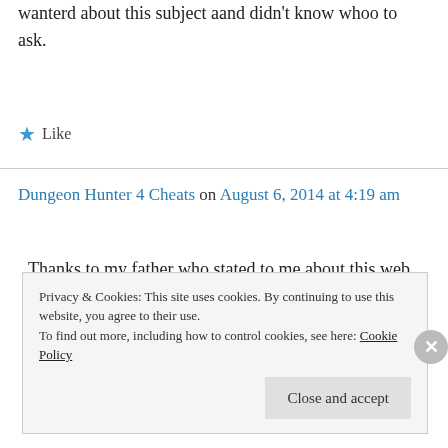wanterd about this subject aand didn't know whoo to ask.
★ Like
Dungeon Hunter 4 Cheats on August 6, 2014 at 4:19 am
Thanks to my father who stated to me about this web site, this webpage is really awesome.
Privacy & Cookies: This site uses cookies. By continuing to use this website, you agree to their use.
To find out more, including how to control cookies, see here: Cookie Policy
Close and accept